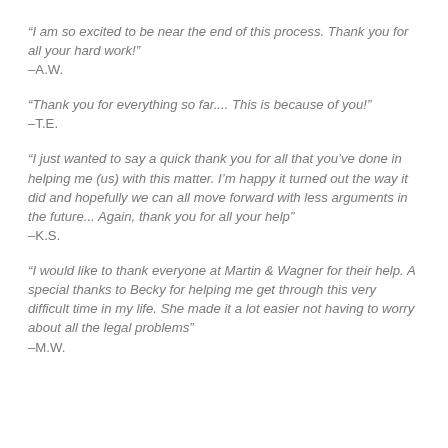“I am so excited to be near the end of this process. Thank you for all your hard work!” –A.W.
“Thank you for everything so far.... This is because of you!” –T.E.
“I just wanted to say a quick thank you for all that you’ve done in helping me (us) with this matter. I’m happy it turned out the way it did and hopefully we can all move forward with less arguments in the future... Again, thank you for all your help” –K.S.
“I would like to thank everyone at Martin & Wagner for their help. A special thanks to Becky for helping me get through this very difficult time in my life. She made it a lot easier not having to worry about all the legal problems” –M.W.